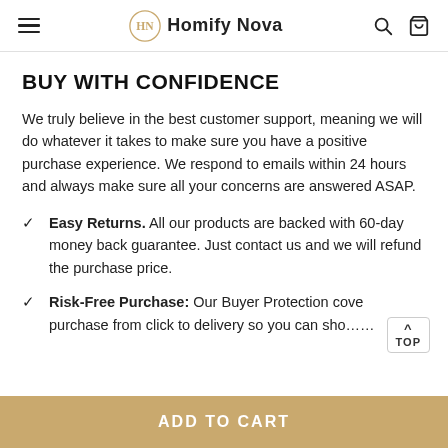Homify Nova
BUY WITH CONFIDENCE
We truly believe in the best customer support, meaning we will do whatever it takes to make sure you have a positive purchase experience. We respond to emails within 24 hours and always make sure all your concerns are answered ASAP.
Easy Returns. All our products are backed with 60-day money back guarantee. Just contact us and we will refund the purchase price.
Risk-Free Purchase: Our Buyer Protection cove purchase from click to delivery so you can sho......